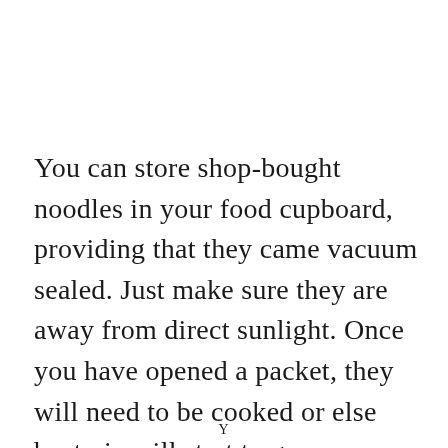You can store shop-bought noodles in your food cupboard, providing that they came vacuum sealed. Just make sure they are away from direct sunlight. Once you have opened a packet, they will need to be cooked or else bacteria will start to grow.
Y